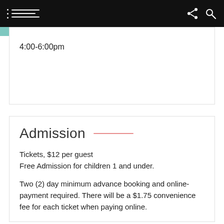Navigation bar with menu, share, and search icons
4:00-6:00pm
Admission
Tickets, $12 per guest
Free Admission for children 1 and under.
Two (2) day minimum advance booking and online-payment required. There will be a $1.75 convenience fee for each ticket when paying online.